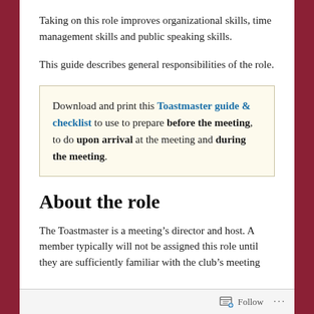Taking on this role improves organizational skills, time management skills and public speaking skills.
This guide describes general responsibilities of the role.
Download and print this Toastmaster guide & checklist to use to prepare before the meeting, to do upon arrival at the meeting and during the meeting.
About the role
The Toastmaster is a meeting’s director and host. A member typically will not be assigned this role until they are sufficiently familiar with the club’s meeting...
Follow …